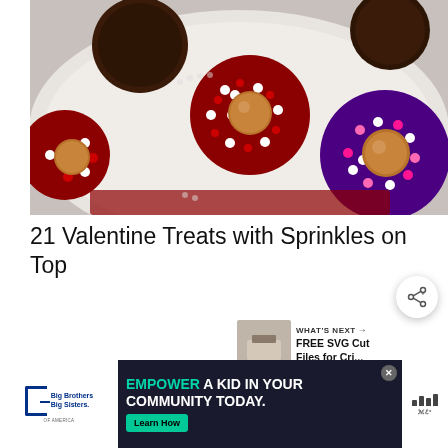[Figure (photo): Close-up photo of Valentine's Day chocolate cookie/brownie bites covered in red, white, pink, and purple sprinkles with chocolate Rolo candy on top, arranged on a white plate.]
21 Valentine Treats with Sprinkles on Top
[Figure (other): Share button (circular white button with share icon consisting of three dots and connecting lines with a plus sign).]
[Figure (other): WHAT'S NEXT card with thumbnail image and text: FREE SVG Cut Files for Cri...]
[Figure (other): Advertisement banner: Big Brothers Big Sisters logo on left, center ad with text EMPOWER A KID IN YOUR COMMUNITY TODAY. and Learn How button, Meraki logo on right. Has a close (X) button.]